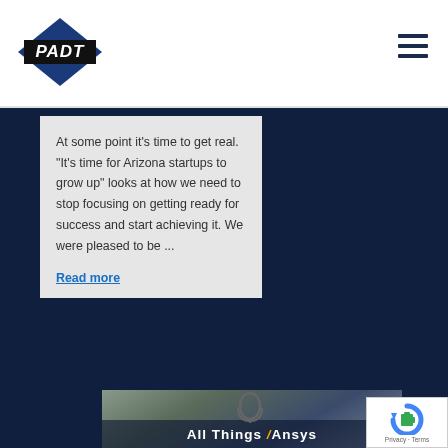[Figure (logo): PADT logo — blue diamond shape with white 'PADT' text in bold italic inside a dark blue/black rectangle over a blue diamond]
At some point it's time to get real.  "It's time for Arizona startups to grow up" looks at how we need to stop focusing on getting ready for success and start achieving it.  We were pleased to be ...
Read more
[Figure (photo): Close-up photo of a studio microphone in a shock mount, with 'All Things / Ansys' text overlaid at the bottom in white with a yellow/gold slash]
[Figure (other): reCAPTCHA badge widget showing the reCAPTCHA logo (blue circular arrow with puzzle piece), and 'Privacy - Terms' text]